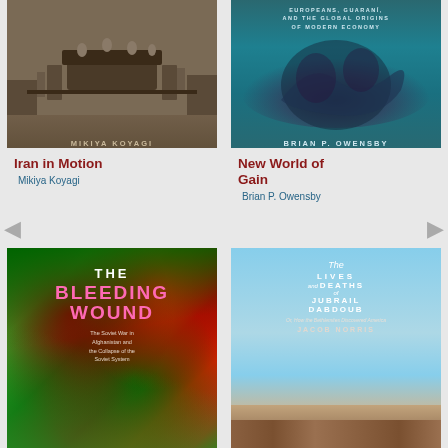[Figure (illustration): Book cover of 'Iran in Motion' by Mikiya Koyagi - sepia toned photo of people with machinery, dark brown/olive cover]
Iran in Motion
Mikiya Koyagi
[Figure (illustration): Book cover of 'New World of Gain' by Brian P. Owensby - teal/dark green cover with text 'Europeans, Guarani, and the Global Origins of Modern Economy']
New World of Gain
Brian P. Owensby
[Figure (illustration): Book cover of 'The Bleeding Wound: The Soviet War in Afghanistan and the Collapse of the Soviet System' - green and red swirling paint cover with pink/white title text]
[Figure (illustration): Book cover of 'The Lives and Deaths of Jubrail Dabdoub' by Jacob Norris - light blue sky cover with white text, landscape at bottom]